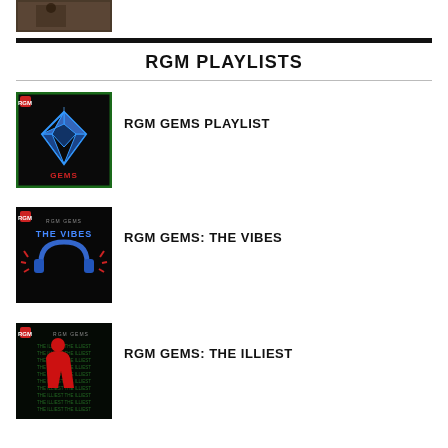[Figure (photo): Partial top image of a person at a venue]
RGM PLAYLISTS
[Figure (illustration): RGM Gems Playlist cover art — black background with blue neon diamond and red RGM GEMS text]
RGM GEMS PLAYLIST
[Figure (illustration): RGM Gems: The Vibes cover art — dark background with blue neon The Vibes text and headphones]
RGM GEMS: THE VIBES
[Figure (illustration): RGM Gems: The Illiest cover art — red silhouette figure on dark green text background]
RGM GEMS: THE ILLIEST